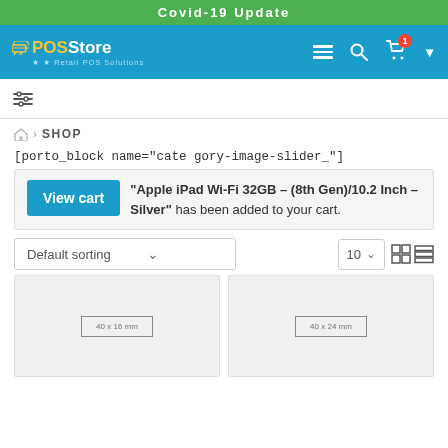Covid-19 Update
[Figure (screenshot): POS Store navigation bar with logo, hamburger menu, search icon, cart icon with badge showing 1 item, and dropdown caret]
[Figure (screenshot): Filter/slider icon bar]
🏠 › SHOP
[porto_block name="category-image-slider_"]
View cart  "Apple iPad Wi-Fi 32GB – (8th Gen)/10.2 Inch – Silver" has been added to your cart.
Default sorting  ∨     10 ∨  ⊞ ≡
[Figure (screenshot): Two product placeholder cards side by side. Left card shows label '40 x 16 mm', right card shows label '40 x 24 mm']